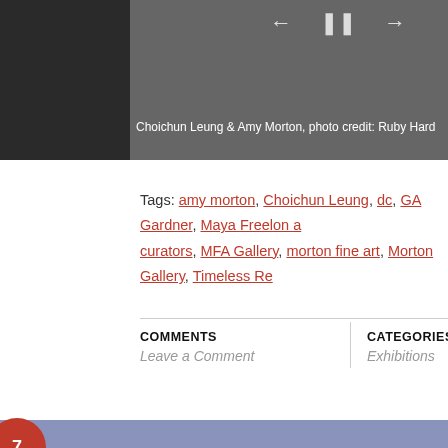[Figure (photo): Dark image bar at top with navigation arrows and photo caption: Choichun Leung & Amy Morton, photo credit: Ruby Hard]
Choichun Leung & Amy Morton, photo credit: Ruby Hard
Tags: amy morton, Choichun Leung, dc, GA Gardner, Maya Freelon a... curators, MFA Gallery, morton fine art, Morton Gallery, Timeless Re...
| COMMENTS | CATEGORIES |
| --- | --- |
| Leave a Comment | Exhibitions |
[Figure (illustration): Blue/periwinkle band section at bottom of page]
[Figure (illustration): Red circle partially visible at bottom-left corner with number 7]